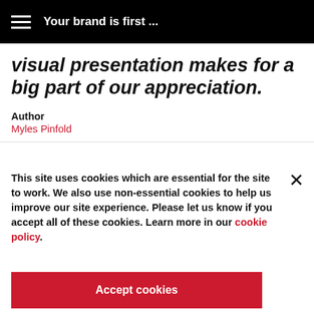Your brand is first ...
visual presentation makes for a big part of our appreciation.
Author
Myles Pinfold
This site uses cookies which are essential for the site to work. We also use non-essential cookies to help us improve our site experience. Please let us know if you accept all of these cookies. Learn more in our cookie policy.
Accept cookies
Manage cookies